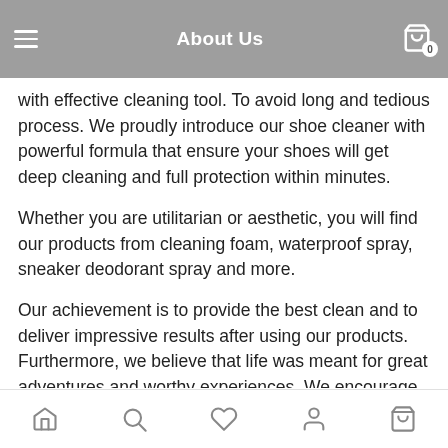About Us
with effective cleaning tool. To avoid long and tedious process. We proudly introduce our shoe cleaner with powerful formula that ensure your shoes will get deep cleaning and full protection within minutes.
Whether you are utilitarian or aesthetic, you will find our products from cleaning foam, waterproof spray, sneaker deodorant spray and more.
Our achievement is to provide the best clean and to deliver impressive results after using our products. Furthermore, we believe that life was meant for great adventures and worthy experiences. We encourage all sneaker wearers to enjoy your journey in every move without being concerned for dirty looks.
Navigation icons: Home, Search, Wishlist, Account, Cart